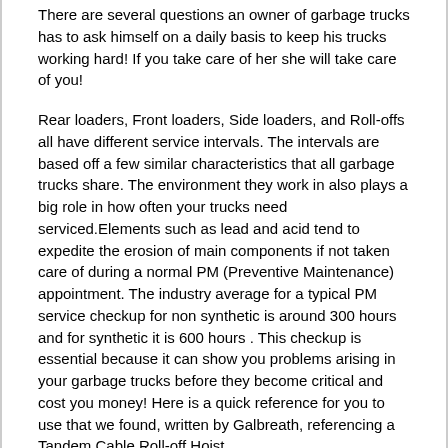There are several questions an owner of garbage trucks has to ask himself on a daily basis to keep his trucks working hard! If you take care of her she will take care of you!
Rear loaders, Front loaders, Side loaders, and Roll-offs all have different service intervals. The intervals are based off a few similar characteristics that all garbage trucks share. The environment they work in also plays a big role in how often your trucks need serviced.Elements such as lead and acid tend to expedite the erosion of main components if not taken care of during a normal PM (Preventive Maintenance) appointment. The industry average for a typical PM service checkup for non synthetic is around 300 hours and for synthetic it is 600 hours . This checkup is essential because it can show you problems arising in your garbage trucks before they become critical and cost you money! Here is a quick reference for you to use that we found, written by Galbreath, referencing a Tandem Cable Roll-off Hoist.
Daily Inspections
Hydraulic Components